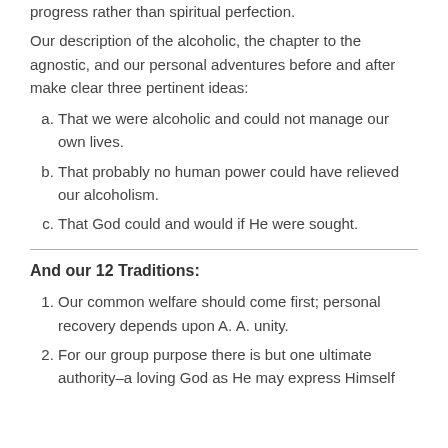progress rather than spiritual perfection.
Our description of the alcoholic, the chapter to the agnostic, and our personal adventures before and after make clear three pertinent ideas:
a. That we were alcoholic and could not manage our own lives.
b. That probably no human power could have relieved our alcoholism.
c. That God could and would if He were sought.
And our 12 Traditions:
1. Our common welfare should come first; personal recovery depends upon A. A. unity.
2. For our group purpose there is but one ultimate authority–a loving God as He may express Himself